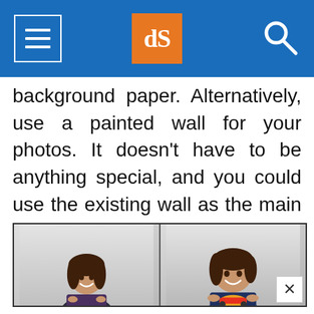dPS navigation header with hamburger menu, logo, and search icon
background paper. Alternatively, use a painted wall for your photos. It doesn't have to be anything special, and you could use the existing wall as the main background as well.
[Figure (photo): Two side-by-side portrait photos of the same young child smiling, both against a light gray background. Left photo shows the child in a dark floral outfit. Right photo shows the child in a dark navy t-shirt with a Lightning McQueen (Cars) graphic.]